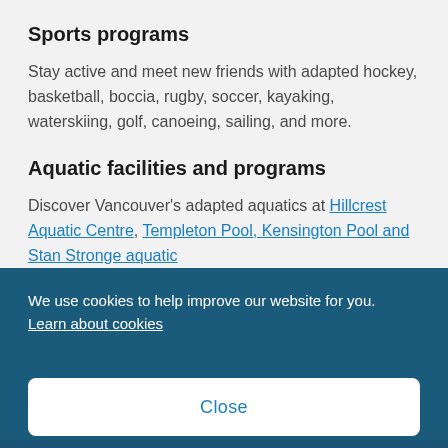Sports programs
Stay active and meet new friends with adapted hockey, basketball, boccia, rugby, soccer, kayaking, waterskiing, golf, canoeing, sailing, and more.
Aquatic facilities and programs
Discover Vancouver's adapted aquatics at Hillcrest Aquatic Centre, Templeton Pool, Kensington Pool and Stan Stronge aquatic
We use cookies to help improve our website for you. Learn about cookies
Close